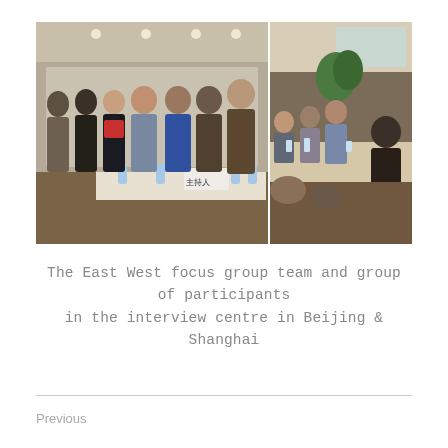[Figure (photo): Two side-by-side photos: left shows a group of people standing in a focus group room (Beijing interview centre), right shows participants seated around a table in a discussion session (Shanghai interview centre).]
The East West focus group team and group of participants in the interview centre in Beijing & Shanghai
Previous